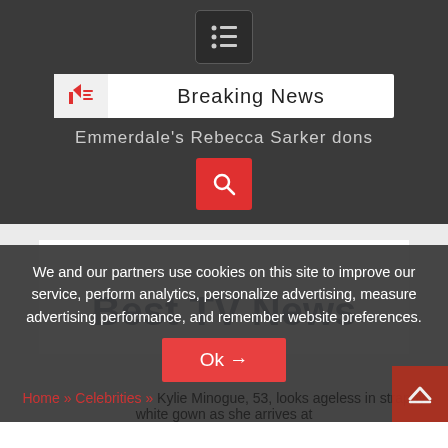[Figure (screenshot): Menu icon (hamburger/list) in dark box at top center]
Breaking News
Emmerdale's Rebecca Sarker dons
[Figure (screenshot): Red search button with magnifying glass icon]
Best TV News
We and our partners use cookies on this site to improve our service, perform analytics, personalize advertising, measure advertising performance, and remember website preferences.
Ok →
Home » Celebrities » Kylie Minogue, 53, looks ageless in strappy white gown as she arrives at